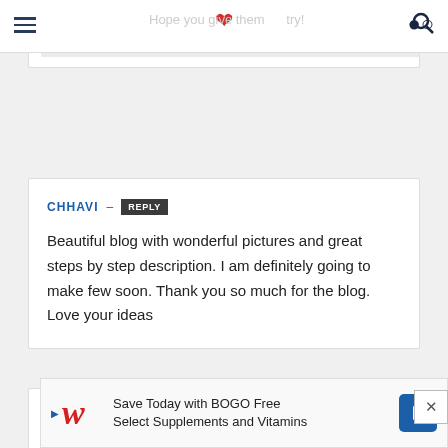Hope you give them a try!
Megan
CHHAVI – REPLY
Beautiful blog with wonderful pictures and great steps by step description. I am definitely going to make few soon. Thank you so much for the blog. Love your ideas
NI... W...
[Figure (screenshot): Walgreens advertisement banner: Save Today with BOGO Free Select Supplements and Vitamins]